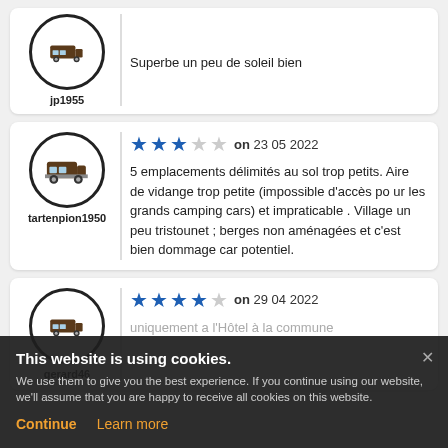Superbe un peu de soleil bien
jp1955
★★★☆☆ on 23 05 2022
tartenpion1950
5 emplacements délimités au sol trop petits. Aire de vidange trop petite (impossible d'accès po ur les grands camping cars) et impraticable . Village un peu tristounet ; berges non aménagées et c'est bien dommage car potentiel.
★★★★☆ on 29 04 2022
gerard46
This website is using cookies. We use them to give you the best experience. If you continue using our website, we'll assume that you are happy to receive all cookies on this website. Continue | Learn more